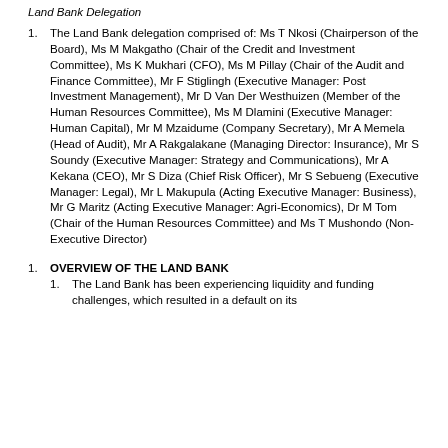Land Bank Delegation
The Land Bank delegation comprised of: Ms T Nkosi (Chairperson of the Board), Ms M Makgatho (Chair of the Credit and Investment Committee), Ms K Mukhari (CFO), Ms M Pillay (Chair of the Audit and Finance Committee), Mr F Stiglingh (Executive Manager: Post Investment Management), Mr D Van Der Westhuizen (Member of the Human Resources Committee), Ms M Dlamini (Executive Manager: Human Capital), Mr M Mzaidume (Company Secretary), Mr A Memela (Head of Audit), Mr A Rakgalakane (Managing Director: Insurance), Mr S Soundy (Executive Manager: Strategy and Communications), Mr A Kekana (CEO), Mr S Diza (Chief Risk Officer), Mr S Sebueng (Executive Manager: Legal), Mr L Makupula (Acting Executive Manager: Business), Mr G Maritz (Acting Executive Manager: Agri-Economics), Dr M Tom (Chair of the Human Resources Committee) and Ms T Mushondo (Non-Executive Director)
OVERVIEW OF THE LAND BANK
The Land Bank has been experiencing liquidity and funding challenges, which resulted in a default on its